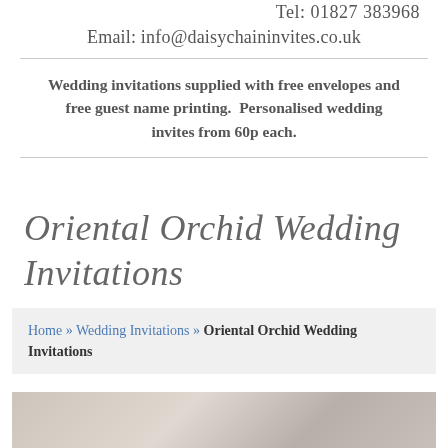Tel: 01827 383968
Email: info@daisychaininvites.co.uk
Wedding invitations supplied with free envelopes and free guest name printing. Personalised wedding invites from 60p each.
Oriental Orchid Wedding Invitations
Home » Wedding Invitations » Oriental Orchid Wedding Invitations
[Figure (photo): Partial photo strip at bottom of page, showing a wedding-related image in muted tones]